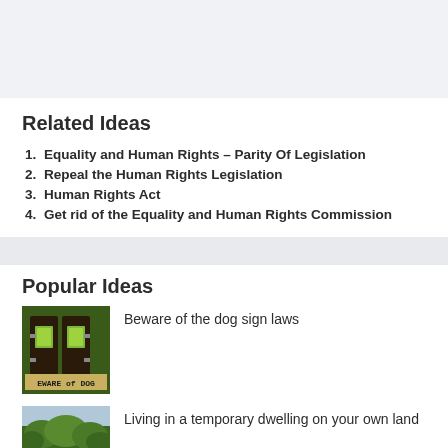Related Ideas
Equality and Human Rights – Parity Of Legislation
Repeal the Human Rights Legislation
Human Rights Act
Get rid of the Equality and Human Rights Commission
Popular Ideas
[Figure (photo): Beware of the dog sign with wooden gate and greenery]
Beware of the dog sign laws
[Figure (photo): Green trees and vegetation, temporary dwelling scene]
Living in a temporary dwelling on your own land